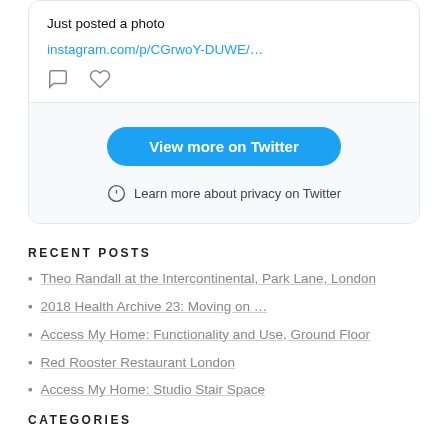[Figure (screenshot): Twitter embedded widget showing a tweet with text 'Just posted a photo' and a link to instagram.com/p/CGrwoY-DUWE/... with comment and heart icons below, followed by a 'View more on Twitter' button and a privacy notice.]
RECENT POSTS
Theo Randall at the Intercontinental, Park Lane, London
2018 Health Archive 23: Moving on ...
Access My Home: Functionality and Use, Ground Floor
Red Rooster Restaurant London
Access My Home: Studio Stair Space
CATEGORIES